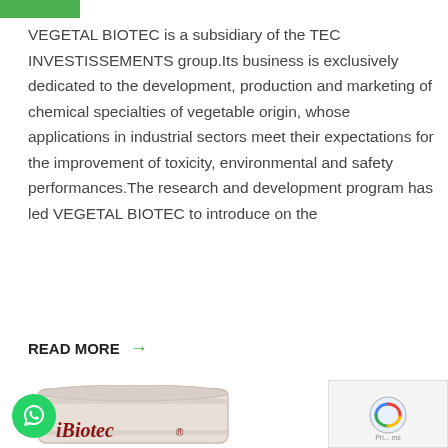[Figure (other): Green rectangular bar at top left of page]
VEGETAL BIOTEC is a subsidiary of the TEC INVESTISSEMENTS group.Its business is exclusively dedicated to the development, production and marketing of chemical specialties of vegetable origin, whose applications in industrial sectors meet their expectations for the improvement of toxicity, environmental and safety performances.The research and development program has led VEGETAL BIOTEC to introduce on the
READ MORE →
[Figure (photo): White industrial drum/barrel with 'iBiotec' branding text in dark red at bottom]
[Figure (other): WhatsApp icon button (green circle with phone icon) at bottom left]
[Figure (other): Scroll to top button (dark circle with upward arrow) at bottom right]
[Figure (other): Privacy/reCaptcha panel at bottom right corner]